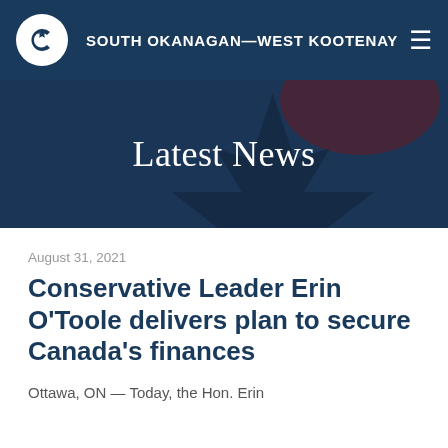SOUTH OKANAGAN—WEST KOOTENAY
Latest News
August 31, 2021
Conservative Leader Erin O'Toole delivers plan to secure Canada's finances
Ottawa, ON — Today, the Hon. Erin